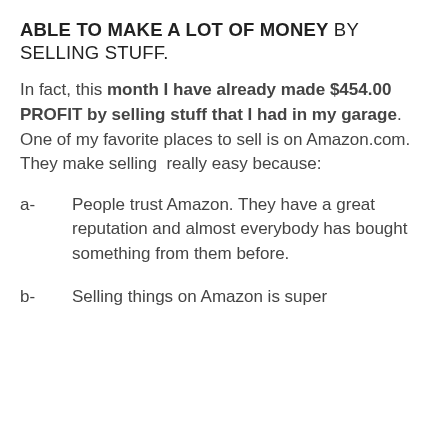ABLE TO MAKE A LOT OF MONEY BY SELLING STUFF.
In fact, this month I have already made $454.00 PROFIT by selling stuff that I had in my garage. One of my favorite places to sell is on Amazon.com. They make selling  really easy because:
a-	People trust Amazon. They have a great reputation and almost everybody has bought something from them before.
b-	Selling things on Amazon is super